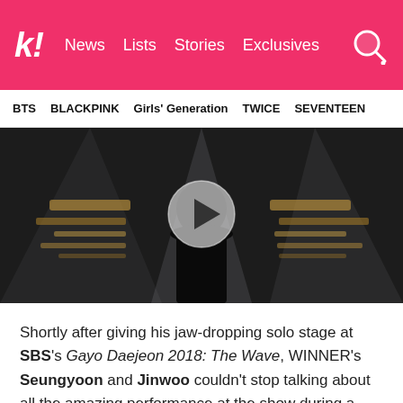k! News Lists Stories Exclusives
BTS   BLACKPINK   Girls' Generation   TWICE   SEVENTEEN
[Figure (screenshot): Video thumbnail showing a person in dark clothing on stage with dramatic stage lighting, with a circular play button overlay in the center]
Shortly after giving his jaw-dropping solo stage at SBS's Gayo Daejeon 2018: The Wave, WINNER's Seungyoon and Jinwoo couldn't stop talking about all the amazing performance at the show during a radio appearance.